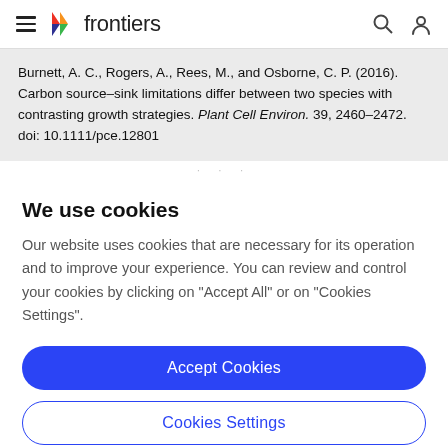frontiers
Burnett, A. C., Rogers, A., Rees, M., and Osborne, C. P. (2016). Carbon source–sink limitations differ between two species with contrasting growth strategies. Plant Cell Environ. 39, 2460–2472. doi: 10.1111/pce.12801
We use cookies
Our website uses cookies that are necessary for its operation and to improve your experience. You can review and control your cookies by clicking on "Accept All" or on "Cookies Settings".
Accept Cookies
Cookies Settings